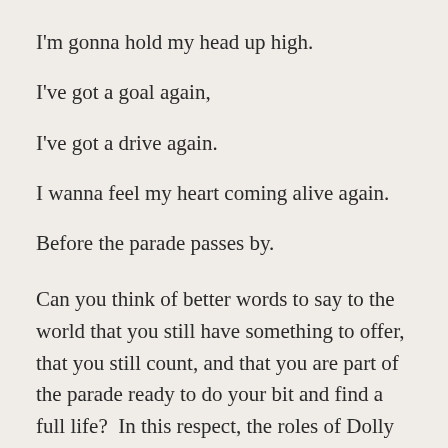I'm gonna hold my head up high.
I've got a goal again,
I've got a drive again.
I wanna feel my heart coming alive again.
Before the parade passes by.
Can you think of better words to say to the world that you still have something to offer, that you still count, and that you are part of the parade ready to do your bit and find a full life?  In this respect, the roles of Dolly and Mame are very much alike.  Both